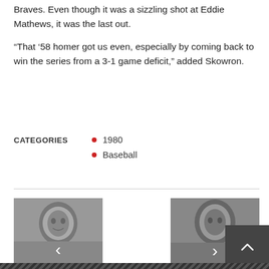Braves. Even though it was a sizzling shot at Eddie Mathews, it was the last out.
“That ’58 homer got us even, especially by coming back to win the series from a 3-1 game deficit,” added Skowron.
CATEGORIES
1980
Baseball
[Figure (photo): Black and white photo of a man's face, with a left-pointing navigation arrow overlay]
[Figure (photo): Black and white photo of a man's face, with a right-pointing navigation arrow overlay]